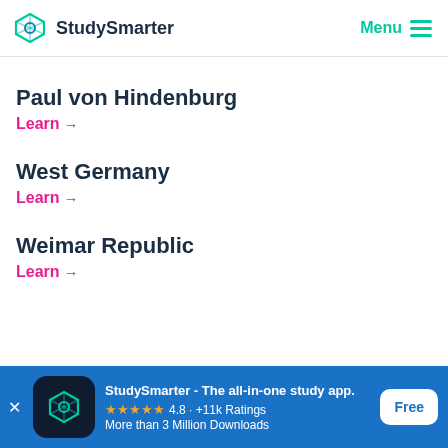StudySmarter | Menu
Paul von Hindenburg
Learn →
West Germany
Learn →
Weimar Republic
Learn →
[Figure (other): StudySmarter app download banner with logo, star rating 4.8, +11k Ratings, More than 3 Million Downloads, and Free button]